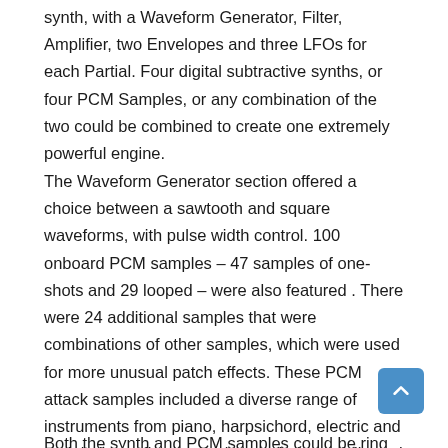synth, with a Waveform Generator, Filter, Amplifier, two Envelopes and three LFOs for each Partial. Four digital subtractive synths, or four PCM Samples, or any combination of the two could be combined to create one extremely powerful engine.
The Waveform Generator section offered a choice between a sawtooth and square waveforms, with pulse width control. 100 onboard PCM samples – 47 samples of one-shots and 29 looped – were also featured . There were 24 additional samples that were combinations of other samples, which were used for more unusual patch effects. These PCM attack samples included a diverse range of instruments from piano, harpsichord, electric and upright bass, flutes, trombone, clarinet, violin and cello, harpsichord and percussive instruments. These samples did not use the Filter section, but featured control over Pitch and Amplifier envelopes, as though they were regular wave shapes.
Both the synth and PCM samples could be ring modulated at the